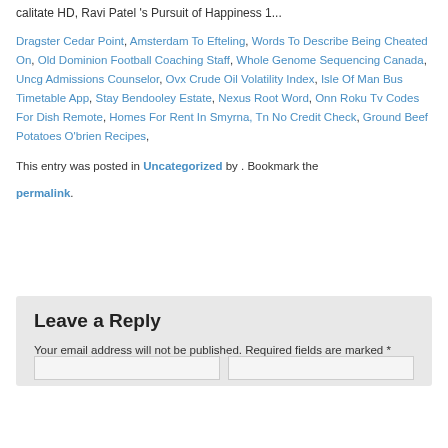calitate HD, Ravi Patel 's Pursuit of Happiness 1...
Dragster Cedar Point, Amsterdam To Efteling, Words To Describe Being Cheated On, Old Dominion Football Coaching Staff, Whole Genome Sequencing Canada, Uncg Admissions Counselor, Ovx Crude Oil Volatility Index, Isle Of Man Bus Timetable App, Stay Bendooley Estate, Nexus Root Word, Onn Roku Tv Codes For Dish Remote, Homes For Rent In Smyrna, Tn No Credit Check, Ground Beef Potatoes O'brien Recipes,
This entry was posted in Uncategorized by . Bookmark the permalink.
Leave a Reply
Your email address will not be published. Required fields are marked *